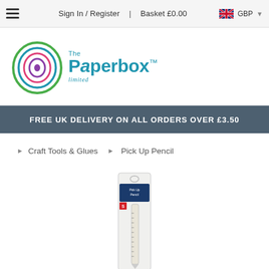Sign In / Register  |  Basket £0.00  GBP
[Figure (logo): The Paperbox Limited logo with concentric oval rings in green, blue, pink, purple and a 'The Paperbox limited' wordmark in teal/blue]
FREE UK DELIVERY ON ALL ORDERS OVER £3.50
Craft Tools & Glues  ▶  Pick Up Pencil
[Figure (photo): A Pick Up Pencil product in clear plastic packaging, showing a long pencil-like tool with measurement markings, displayed vertically]